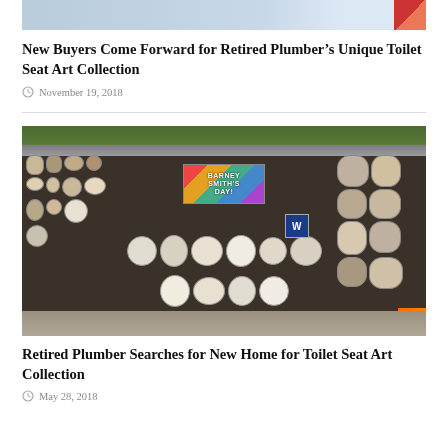[Figure (photo): Top portion of an image (cropped), showing what appears to be an outdoor or artistic scene with blue and red colors]
New Buyers Come Forward for Retired Plumber’s Unique Toilet Seat Art Collection
November 19, 2018
[Figure (photo): Photograph of Barney Smith's toilet seat art collection displayed in a garage, with hundreds of decorated toilet seats covering the walls and floor. A sign reads 'BARNEY SMITH'S DAY!' in colorful letters.]
Retired Plumber Searches for New Home for Toilet Seat Art Collection
May 28, 2018